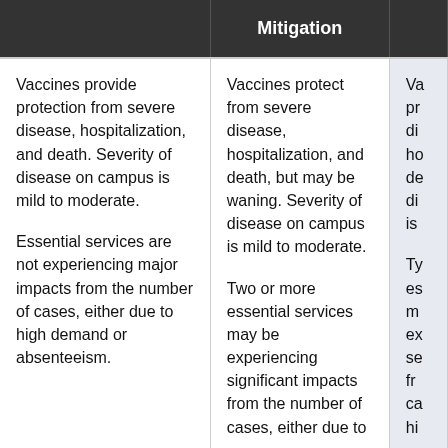|  | Mitigation | Va... |
| --- | --- | --- |
| Vaccines provide protection from severe disease, hospitalization, and death. Severity of disease on campus is mild to moderate.

Essential services are not experiencing major impacts from the number of cases, either due to high demand or absenteeism. | Vaccines protect from severe disease, hospitalization, and death, but may be waning. Severity of disease on campus is mild to moderate.

Two or more essential services may be experiencing significant impacts from the number of cases, either due to high demand or absenteeism. | Va... pr... di... ho... de... di... is...

Ty... es... m... ex... se... fr... ca... hi... |